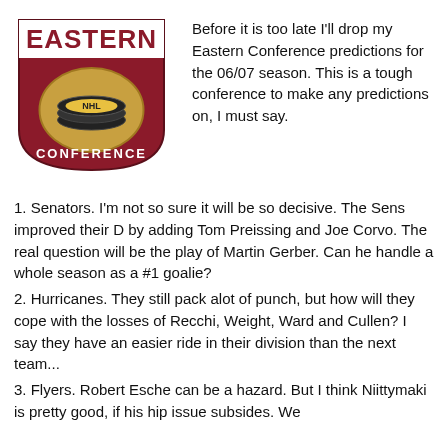[Figure (logo): NHL Eastern Conference logo — dark red/maroon shield with 'EASTERN' text at top, NHL puck graphic in center, 'CONFERENCE' text at bottom]
Before it is too late I'll drop my Eastern Conference predictions for the 06/07 season. This is a tough conference to make any predictions on, I must say.
1. Senators. I'm not so sure it will be so decisive. The Sens improved their D by adding Tom Preissing and Joe Corvo. The real question will be the play of Martin Gerber. Can he handle a whole season as a #1 goalie?
2. Hurricanes. They still pack alot of punch, but how will they cope with the losses of Recchi, Weight, Ward and Cullen? I say they have an easier ride in their division than the next team...
3. Flyers. Robert Esche can be a hazard. But I think Niittymaki is pretty good, if his hip issue subsides. We